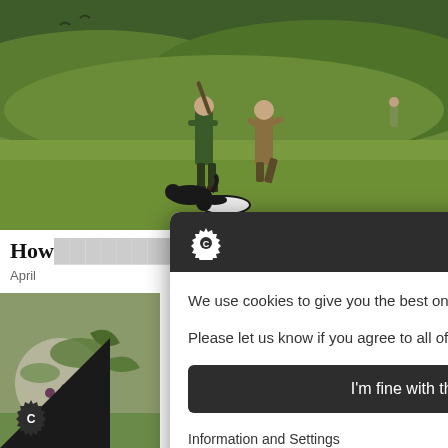[Figure (photo): Outdoor hunting scene with two hunters and dogs on a grassy hillside]
How … s respect
April …
[Figure (photo): Close-up of herbs and food ingredients]
[Figure (photo): Roasted rack of lamb or meat on a wooden board with asparagus]
[Figure (screenshot): Cookie consent modal dialog with gear icon, close button, cookie text and 'I'm fine with this' button. Text: We use cookies to give you the best online experience. Please let us know if you agree to all of these cookies. Button: I'm fine with this. Links: Information and Settings, Cookie policy]
[Figure (logo): Cookie consent gear/C icon in bottom-left corner]